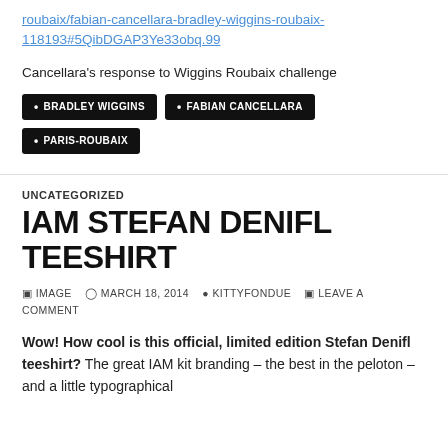roubaix/fabian-cancellara-bradley-wiggins-roubaix-118193#5QibDGAP3Ye33obq.99
Cancellara's response to Wiggins Roubaix challenge
• BRADLEY WIGGINS
• FABIAN CANCELLARA
• PARIS-ROUBAIX
UNCATEGORIZED
IAM STEFAN DENIFL TEESHIRT
IMAGE   MARCH 18, 2014   KITTYFONDUE   LEAVE A COMMENT
Wow! How cool is this official, limited edition Stefan Denifl teeshirt? The great IAM kit branding – the best in the peloton – and a little typographical